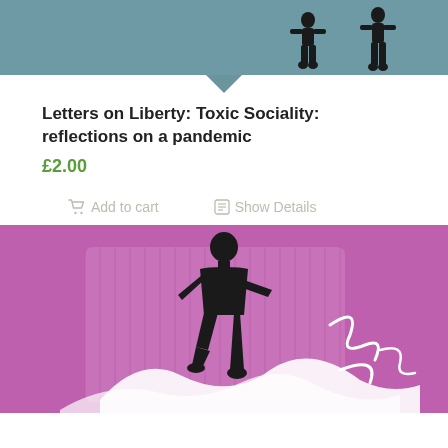[Figure (illustration): Top portion of a book cover with teal/slate blue background showing silhouette figures of people at the bottom right, partially cropped]
Letters on Liberty: Toxic Sociality: reflections on a pandemic
£2.00
Add to cart
Show Details
[Figure (illustration): Book cover with purple/magenta background showing a black silhouette of a person standing with one leg raised, and white decorative swirl/floral patterns below and around them, with a lighter purple rectangular panel behind]